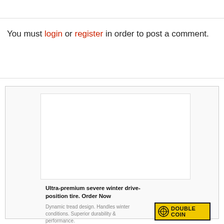You must login or register in order to post a comment.
[Figure (other): Advertisement for DoubleCoin ultra-premium severe winter drive-position tire, showing a white image area, bold headline, descriptive text, and the DoubleCoin logo on a yellow background.]